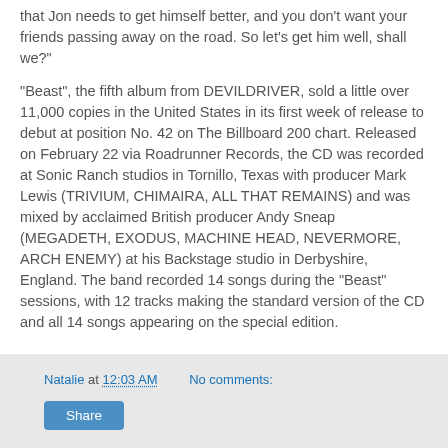that Jon needs to get himself better, and you don't want your friends passing away on the road. So let's get him well, shall we?"
"Beast", the fifth album from DEVILDRIVER, sold a little over 11,000 copies in the United States in its first week of release to debut at position No. 42 on The Billboard 200 chart. Released on February 22 via Roadrunner Records, the CD was recorded at Sonic Ranch studios in Tornillo, Texas with producer Mark Lewis (TRIVIUM, CHIMAIRA, ALL THAT REMAINS) and was mixed by acclaimed British producer Andy Sneap (MEGADETH, EXODUS, MACHINE HEAD, NEVERMORE, ARCH ENEMY) at his Backstage studio in Derbyshire, England. The band recorded 14 songs during the "Beast" sessions, with 12 tracks making the standard version of the CD and all 14 songs appearing on the special edition.
Natalie at 12:03 AM   No comments:   Share